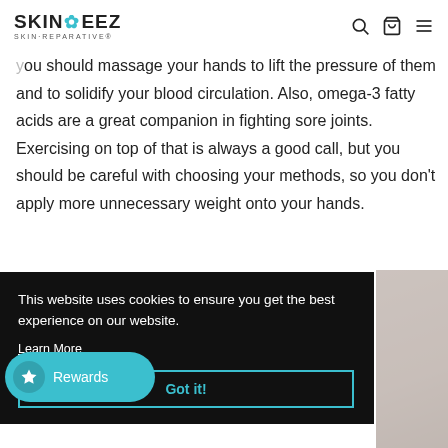SKINEEZ SKIN·REPARATIVE®
you should massage your hands to lift the pressure of them and to solidify your blood circulation. Also, omega-3 fatty acids are a great companion in fighting sore joints. Exercising on top of that is always a good call, but you should be careful with choosing your methods, so you don't apply more unnecessary weight onto your hands.
This website uses cookies to ensure you get the best experience on our website. Learn More
Got it!
Rewards